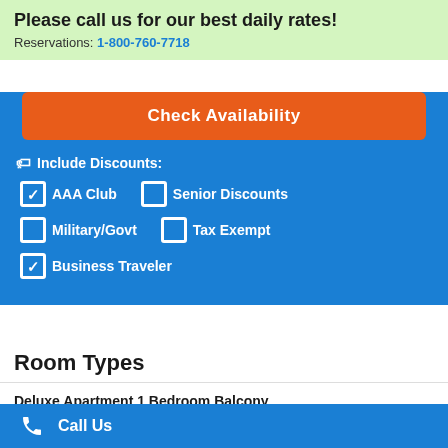Please call us for our best daily rates!
Reservations: 1-800-760-7718
Check Availability
Include Discounts:
✓ AAA Club
☐ Senior Discounts
☐ Military/Govt
☐ Tax Exempt
✓ Business Traveler
Room Types
Deluxe Apartment 1 Bedroom Balcony
Non-Smoking
Premier Apartment 3 Bedrooms Balcony
Non-Smoking
Call Us